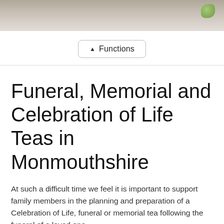[Figure (photo): Decorative photo strip showing a blurred light-colored background with a green plant/leaf element visible at top right]
▲ Functions
Funeral, Memorial and Celebration of Life Teas in Monmouthshire
At such a difficult time we feel it is important to support family members in the planning and preparation of a Celebration of Life, funeral or memorial tea following the funeral of a loved one.